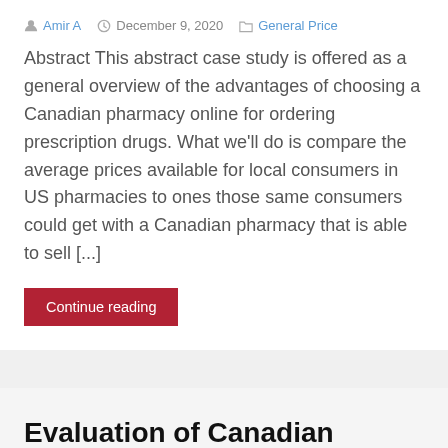Amir A | December 9, 2020 | General Price
Abstract This abstract case study is offered as a general overview of the advantages of choosing a Canadian pharmacy online for ordering prescription drugs. What we'll do is compare the average prices available for local consumers in US pharmacies to ones those same consumers could get with a Canadian pharmacy that is able to sell [...]
Continue reading
Evaluation of Canadian Pharmacy Advantages vs US Ones